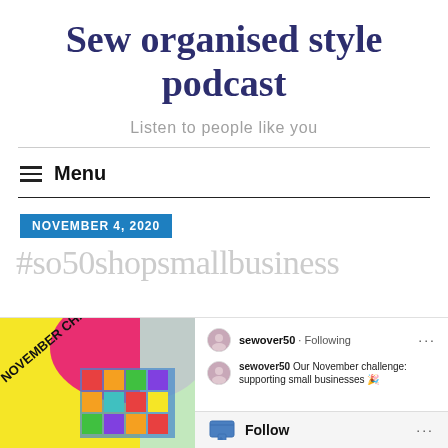Sew organised style podcast
Listen to people like you
≡ Menu
NOVEMBER 4, 2020
#so50shopsmallbusiness
[Figure (screenshot): Instagram post embed showing a November challenge graphic with yellow, pink and teal colors, alongside the sewover50 account info, caption 'Our November challenge: supporting small businesses', and a Follow button at the bottom.]